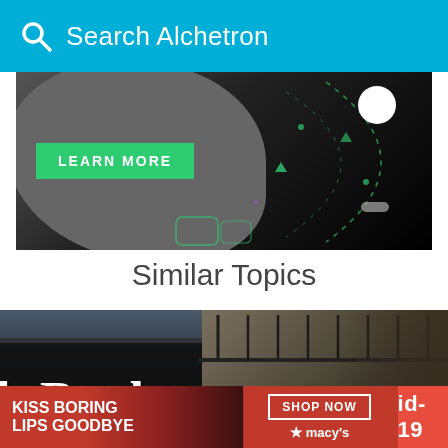Search Alchetron
[Figure (screenshot): Game advertisement banner with dark background, grey blob shape, green LEARN MORE button, dotted arc lines, white circle, and small green triangles/dots]
Similar Topics
[Figure (photo): Exterior of a bookshop showing dark storefront sign reading 'k Books' in white serif lettering, with stone balcony railing visible above. A woman's face partially visible bottom right. A circular close button overlay.]
[Figure (screenshot): Bottom advertisement strip: red background with 'KISS BORING LIPS GOODBYE' text on left, woman with red lips in center, SHOP NOW button with Macy's star logo, and red 'id-19' tab on far right]